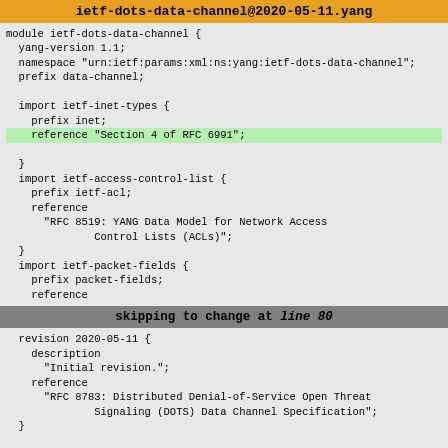ietf-dots-data-channel@2020-05-11.yang
module ietf-dots-data-channel {
  yang-version 1.1;
  namespace "urn:ietf:params:xml:ns:yang:ietf-dots-data-channel";
  prefix data-channel;

  import ietf-inet-types {
    prefix inet;
    reference "Section 4 of RFC 6991";

  }
  import ietf-access-control-list {
    prefix ietf-acl;
    reference
      "RFC 8519: YANG Data Model for Network Access
              Control Lists (ACLs)";
  }
  import ietf-packet-fields {
    prefix packet-fields;
    reference
skipping to change at line 80
revision 2020-05-11 {
    description
      "Initial revision.";
    reference
      "RFC 8783: Distributed Denial-of-Service Open Threat
              Signaling (DOTS) Data Channel Specification";
  }

  typedef activation-type {
    type enumeration {
      enum "activate-when-mitigating" {
        value 1;
        description
          "The Access Control List (ACL) is installed only when
           a mitigation is active for the DOTS client.";